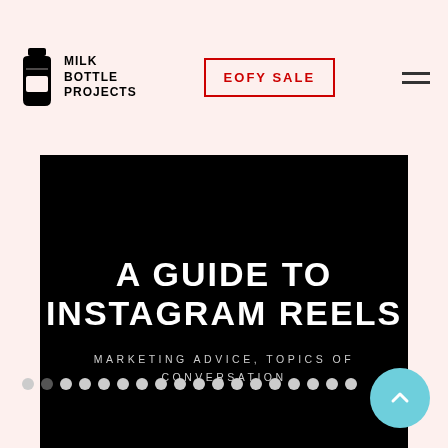[Figure (logo): Milk Bottle Projects logo with a milk bottle icon and stacked text reading MILK BOTTLE PROJECTS]
EOFY SALE
[Figure (illustration): Hamburger/menu icon with three horizontal lines]
[Figure (screenshot): Black hero banner with text 'A Guide to Instagram Reels' and subtitle 'Marketing Advice, Topics of Conversation']
A GUIDE TO INSTAGRAM REELS
MARKETING ADVICE, TOPICS OF CONVERSATION
Carousel pagination dots (18 dots, second dot active)
[Figure (illustration): Light blue circular scroll-to-top button with upward chevron arrow]